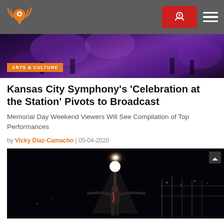Kansas City public radio navigation bar with logo, donate button, and hamburger menu
[Figure (photo): Purple-lit concert hall/orchestra stage photo with 'ARTS & CULTURE' tag]
Kansas City Symphony’s ‘Celebration at the Station’ Pivots to Broadcast
Memorial Day Weekend Viewers Will See Compilation of Top Performances
by Vicky Diaz-Camacho | 05-04-2020
[Figure (photo): Night-time outdoor performance photo: a performer stands on a bridge or outdoor stage with arms outstretched, bright spotlight overhead, dark background with scattered lights]